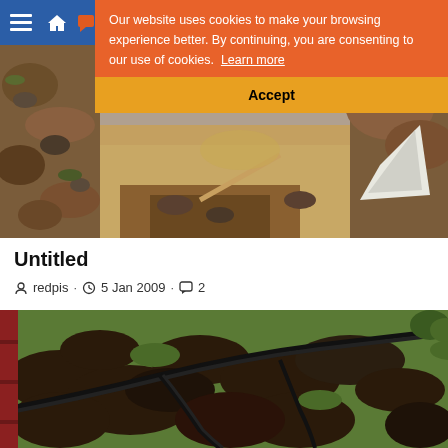[Figure (screenshot): Website navigation bar with hamburger menu, house icon, chat icon on blue background]
[Figure (photo): Cookie consent banner overlay on orange background with text about cookies and yellow Accept button]
[Figure (photo): Photo of an excavated garden/yard showing disturbed rocky soil and earth]
Untitled
redpis · 5 Jan 2009 · 2
[Figure (photo): Photo of a garden lawn with trenches dug and black irrigation/drainage pipes laid across the grass]